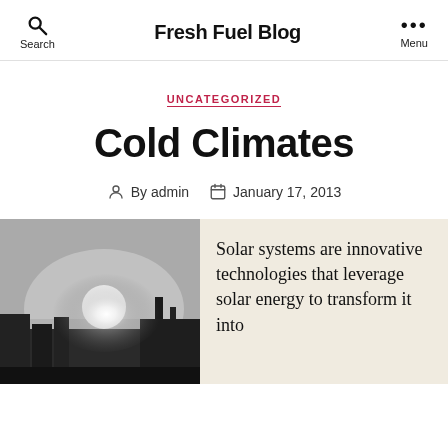Fresh Fuel Blog
UNCATEGORIZED
Cold Climates
By admin   January 17, 2013
[Figure (photo): Grayscale photograph of a bright sun low in the sky behind a silhouette of buildings and chimneys]
Solar systems are innovative technologies that leverage solar energy to transform it into